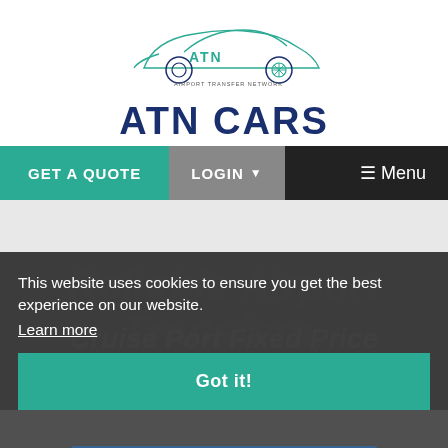[Figure (logo): ATN Cars logo — car line drawing with wheel, green and dark blue colors, text AIRPORT TRANSFER NETWORK below the car, and large bold ATN CARS text]
GET A QUOTE
LOGIN
☰ Menu
Reliable Airport Transfers, Airport, Cruise Port Fixed Price Minicab Transfers
This website uses cookies to ensure you get the best experience on our website.
Learn more
Got it!
+